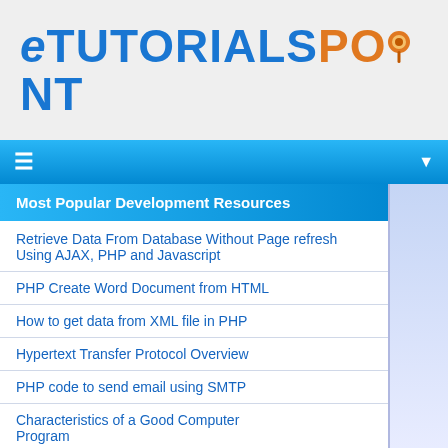eTUTORIALSPOINT
Most Popular Development Resources
Retrieve Data From Database Without Page refresh Using AJAX, PHP and Javascript
PHP Create Word Document from HTML
How to get data from XML file in PHP
Hypertext Transfer Protocol Overview
PHP code to send email using SMTP
Characteristics of a Good Computer Program
About Us   Contact Us
eTutorialsPoint©Copyright 2016-2022. All Rights Reserved.